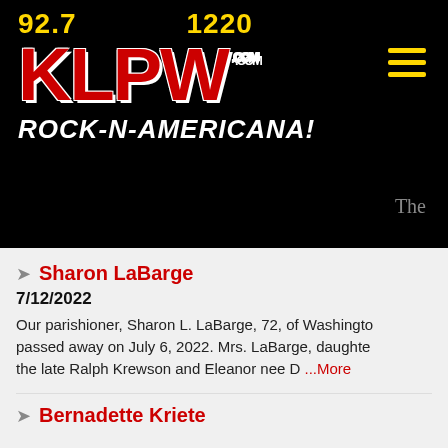[Figure (logo): KLPW Radio station logo with frequencies 92.7 and 1220, red KLPW.com text with white outline, white tagline ROCK-N-AMERICANA! on black background, hamburger menu icon top right, grey 'The' text]
Sharon LaBarge
7/12/2022
Our parishioner, Sharon L. LaBarge, 72, of Washingto passed away on July 6, 2022. Mrs. LaBarge, daughte the late Ralph Krewson and Eleanor nee D ...More
Bernadette Kriete